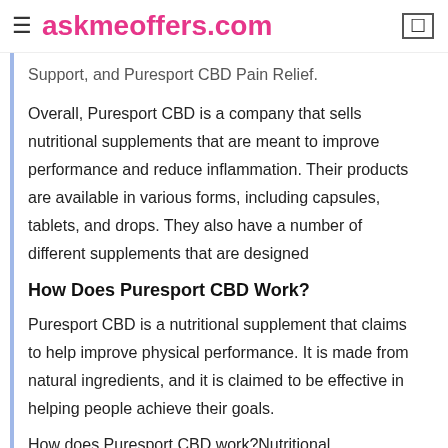askmeoffers.com
Support, and Puresport CBD Pain Relief.
Overall, Puresport CBD is a company that sells nutritional supplements that are meant to improve performance and reduce inflammation. Their products are available in various forms, including capsules, tablets, and drops. They also have a number of different supplements that are designed
How Does Puresport CBD Work?
Puresport CBD is a nutritional supplement that claims to help improve physical performance. It is made from natural ingredients, and it is claimed to be effective in helping people achieve their goals.
How does Puresport CBD work?Nutritional supplements are designed to help increase the amount of energy that you have available for physical activity. They do this by increasing the